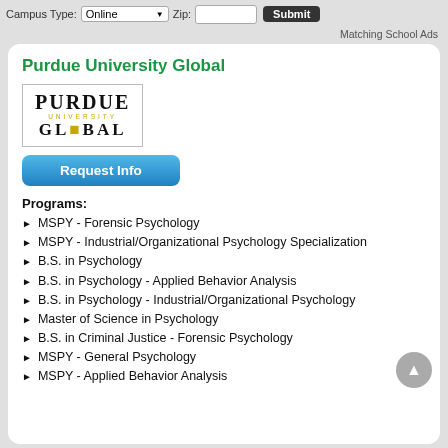Campus Type: Online  Zip:  Submit
Matching School Ads
Purdue University Global
[Figure (logo): Purdue University Global logo with gold and black text]
Request Info
Programs:
MSPY - Forensic Psychology
MSPY - Industrial/Organizational Psychology Specialization
B.S. in Psychology
B.S. in Psychology - Applied Behavior Analysis
B.S. in Psychology - Industrial/Organizational Psychology
Master of Science in Psychology
B.S. in Criminal Justice - Forensic Psychology
MSPY - General Psychology
MSPY - Applied Behavior Analysis